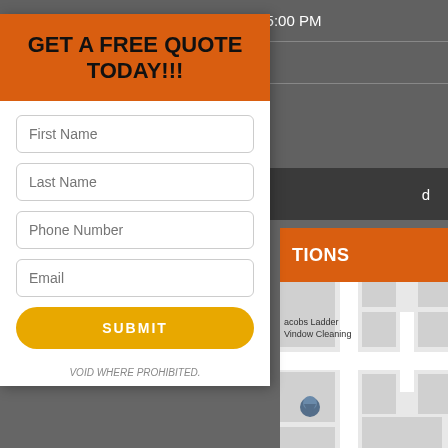| Friday | 8:00 AM - 5:00 PM |
| Saturday | Closed |
[Figure (screenshot): Dark dropdown row with down arrow and partial text 'd']
GET A FREE QUOTE TODAY!!!
TIONS
[Figure (map): Map showing Jacobs Ladder Window Cleaning location with pin marker]
First Name
Last Name
Phone Number
Email
SUBMIT
VOID WHERE PROHIBITED.